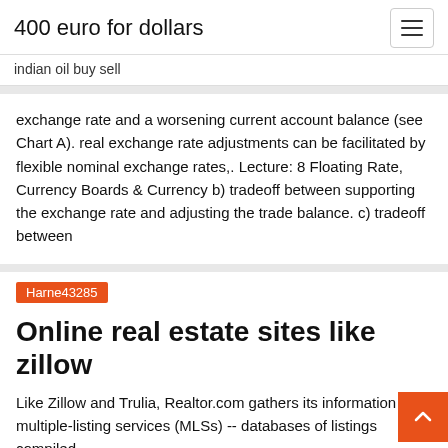400 euro for dollars
indian oil buy sell
exchange rate and a worsening current account balance (see Chart A). real exchange rate adjustments can be facilitated by flexible nominal exchange rates,. Lecture: 8 Floating Rate, Currency Boards & Currency b) tradeoff between supporting the exchange rate and adjusting the trade balance. c) tradeoff between
Harne43285
Online real estate sites like zillow
Like Zillow and Trulia, Realtor.com gathers its information multiple-listing services (MLSs) -- databases of listings compiled